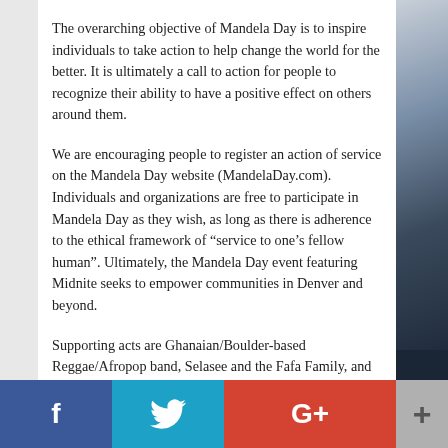The overarching objective of Mandela Day is to inspire individuals to take action to help change the world for the better. It is ultimately a call to action for people to recognize their ability to have a positive effect on others around them.
We are encouraging people to register an action of service on the Mandela Day website (MandelaDay.com). Individuals and organizations are free to participate in Mandela Day as they wish, as long as there is adherence to the ethical framework of “service to one’s fellow human”. Ultimately, the Mandela Day event featuring Midnite seeks to empower communities in Denver and beyond.
Supporting acts are Ghanaian/Boulder-based Reggae/Afropop band, Selasee and the Fafa Family, and 2014 Westword M...
[Figure (other): Social sharing bar with Facebook (blue), Twitter (teal), Google+ (red), and More (+) (gray) buttons]